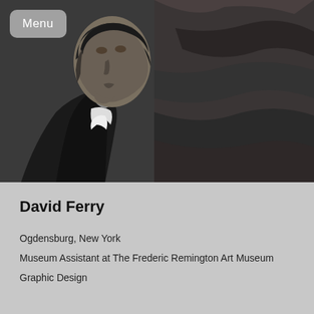[Figure (photo): Black and white portrait photograph of David Ferry, a man looking upward, wearing a dark jacket with a white collar, with a textured rocky background]
Menu
David Ferry
Ogdensburg, New York
Museum Assistant at The Frederic Remington Art Museum
Graphic Design